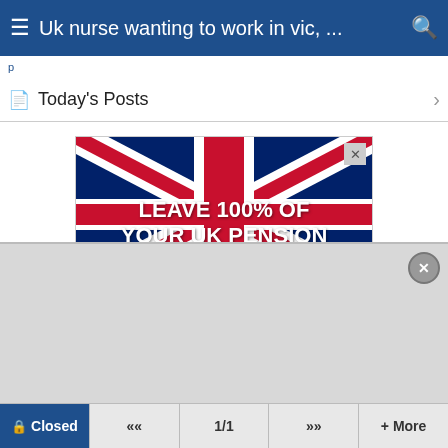Uk nurse wanting to work in vic, ...
Today's Posts
[Figure (screenshot): Advertisement banner featuring a Union Jack flag background with bold white text reading 'LEAVE 100% OF YOUR UK PENSION' and a dark blue lower section with a photo of a hiker in mountains and cyan text reading 'Download our FREE pension transfer guide']
[Figure (screenshot): A grey overlay popup panel with a circular close (x) button in the top right corner]
Closed  «  1/1  »  + More